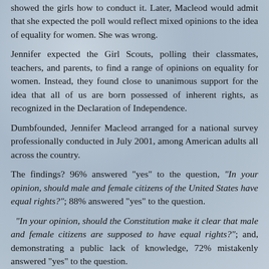showed the girls how to conduct it. Later, Macleod would admit that she expected the poll would reflect mixed opinions to the idea of equality for women. She was wrong.
Jennifer expected the Girl Scouts, polling their classmates, teachers, and parents, to find a range of opinions on equality for women. Instead, they found close to unanimous support for the idea that all of us are born possessed of inherent rights, as recognized in the Declaration of Independence.
Dumbfounded, Jennifer Macleod arranged for a national survey professionally conducted in July 2001, among American adults all across the country.
The findings? 96% answered "yes" to the question, "In your opinion, should male and female citizens of the United States have equal rights?"; 88% answered "yes" to the question.
"In your opinion, should the Constitution make it clear that male and female citizens are supposed to have equal rights?"; and, demonstrating a public lack of knowledge, 72% mistakenly answered "yes" to the question.